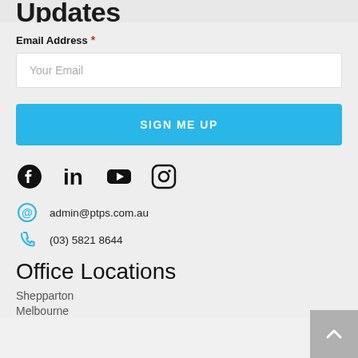Subscribe for P-t-t Updates
Email Address *
Your Email
SIGN ME UP
[Figure (illustration): Social media icons: Facebook, LinkedIn, YouTube, Instagram]
admin@ptps.com.au
(03) 5821 8644
Office Locations
Shepparton
Melbourne